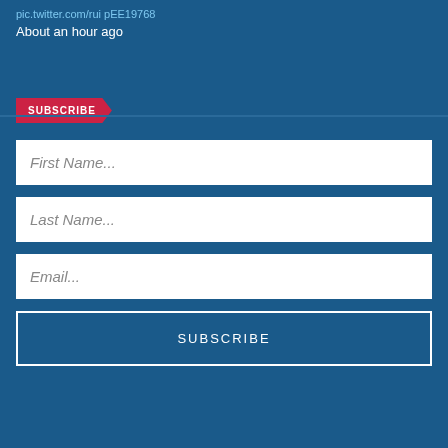pic.twitter.com/rui pEE19768
About an hour ago
SUBSCRIBE
First Name...
Last Name...
Email...
SUBSCRIBE